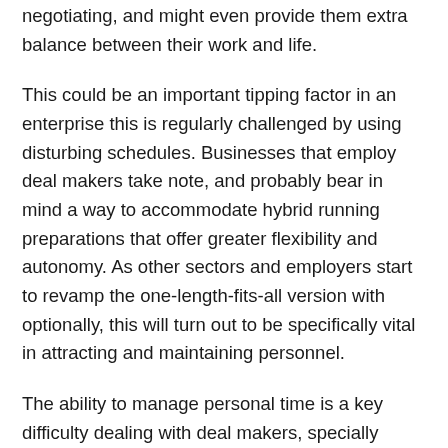negotiating, and might even provide them extra balance between their work and life.
This could be an important tipping factor in an enterprise this is regularly challenged by using disturbing schedules. Businesses that employ deal makers take note, and probably bear in mind a way to accommodate hybrid running preparations that offer greater flexibility and autonomy. As other sectors and employers start to revamp the one-length-fits-all version with optionally, this will turn out to be specifically vital in attracting and maintaining personnel.
The ability to manage personal time is a key difficulty dealing with deal makers, specially ladies